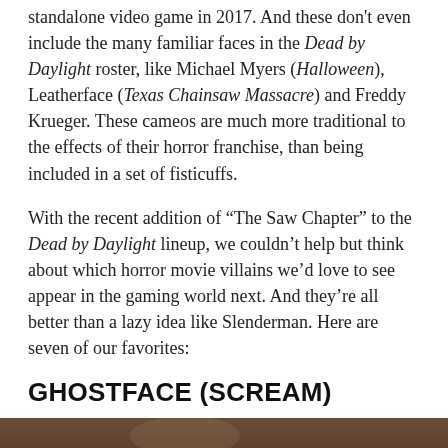standalone video game in 2017. And these don't even include the many familiar faces in the Dead by Daylight roster, like Michael Myers (Halloween), Leatherface (Texas Chainsaw Massacre) and Freddy Krueger. These cameos are much more traditional to the effects of their horror franchise, than being included in a set of fisticuffs.
With the recent addition of “The Saw Chapter” to the Dead by Daylight lineup, we couldn’t help but think about which horror movie villains we’d love to see appear in the gaming world next. And they’re all better than a lazy idea like Slenderman. Here are seven of our favorites:
GHOSTFACE (SCREAM)
[Figure (photo): Dark brown/tan background photo showing a partially visible figure at the bottom center, likely a person in dark costume. A grey scroll-up button with a chevron arrow is in the bottom right corner.]